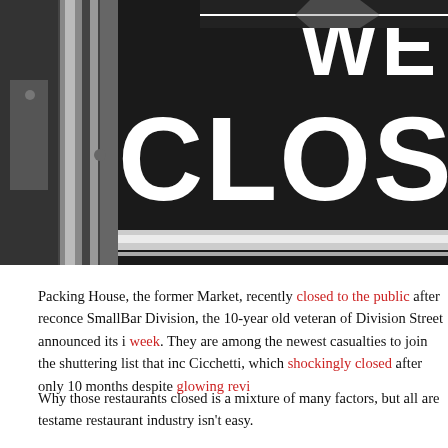[Figure (photo): Black and white close-up photo of a storefront door with a large 'WE ARE CLOSED' sign visible, partially cropped showing 'WE' and 'CLOSE' in large white letters on a dark background.]
Packing House, the former Market, recently closed to the public after reconce... SmallBar Division, the 10-year old veteran of Division Street announced its i... week. They are among the newest casualties to join the shuttering list that inc... Cicchetti, which shockingly closed after only 10 months despite glowing revi...
Why those restaurants closed is a mixture of many factors, but all are testame... restaurant industry isn't easy.